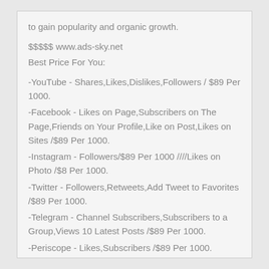to gain popularity and organic growth.
$$$$$ www.ads-sky.net
Best Price For You:
-YouTube - Shares,Likes,Dislikes,Followers / $89 Per 1000.
-Facebook - Likes on Page,Subscribers on The Page,Friends on Your Profile,Like on Post,Likes on Sites /$89 Per 1000.
-Instagram - Followers/$89 Per 1000 ////Likes on Photo /$8 Per 1000.
-Twitter - Followers,Retweets,Add Tweet to Favorites /$89 Per 1000.
-Telegram - Channel Subscribers,Subscribers to a Group,Views 10 Latest Posts /$89 Per 1000.
-Periscope - Likes,Subscribers /$89 Per 1000.